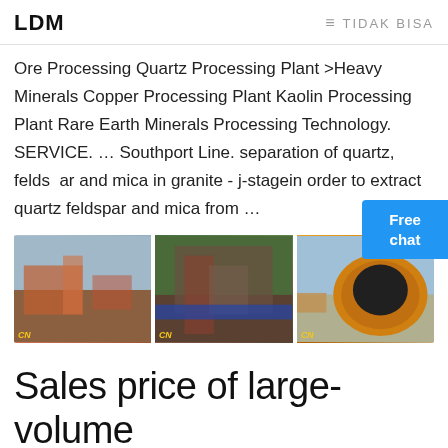LDM   ≡ TIDAK BISA
Ore Processing Quartz Processing Plant >Heavy Minerals Copper Processing Plant Kaolin Processing Plant Rare Earth Minerals Processing Technology. SERVICE. … Southport Line. separation of quartz, feldspar and mica in granite - j-stagein order to extract quartz feldspar and mica from …
[Figure (photo): Three industrial mining/processing plant photos side by side, each with a CN watermark logo]
Sales price of large-volume